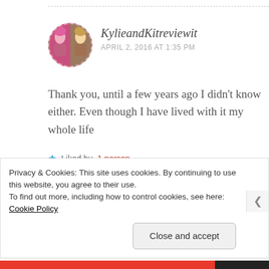KylieandKitreviewit
APRIL 2, 2016 AT 1:35 PM
Thank you, until a few years ago I didn't know either. Even though I have lived with it my whole life
★ Liked by 1 person
Reply
Privacy & Cookies: This site uses cookies. By continuing to use this website, you agree to their use.
To find out more, including how to control cookies, see here: Cookie Policy
Close and accept